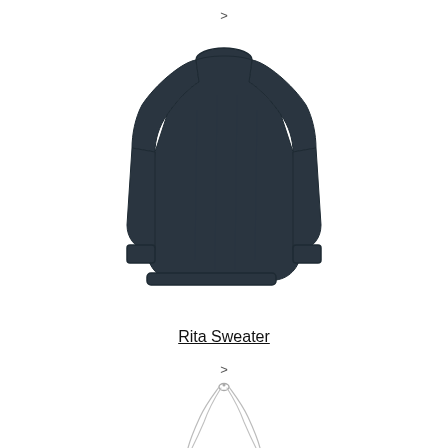>
[Figure (photo): Dark navy/charcoal crew-neck knit sweater with long sleeves, shown flat/laid-out on white background]
Rita Sweater
>
[Figure (photo): Thin silver chain necklace shown hanging/draped, with small clasp visible at top, chains falling down on white background]